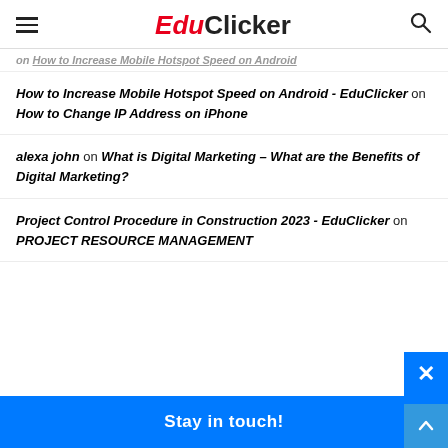EduClicker
on How to Increase Mobile Hotspot Speed on Android
How to Increase Mobile Hotspot Speed on Android - EduClicker on How to Change IP Address on iPhone
alexa john on What is Digital Marketing – What are the Benefits of Digital Marketing?
Project Control Procedure in Construction 2023 - EduClicker on PROJECT RESOURCE MANAGEMENT
Stay in touch!